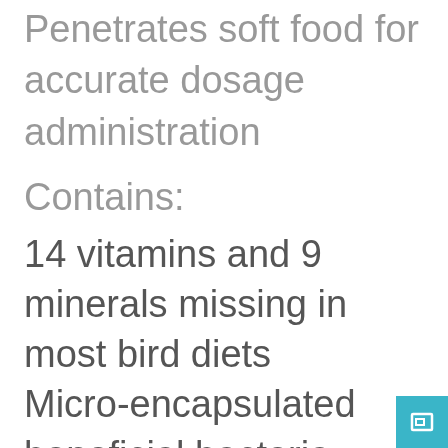Penetrates soft food for accurate dosage administration
Contains:
14 vitamins and 9 minerals missing in most bird diets
Micro-encapsulated beneficial bacteria (probiotics) keeps birds in top condition
Extra vitamin C and E for increased breeding and as antioxidant